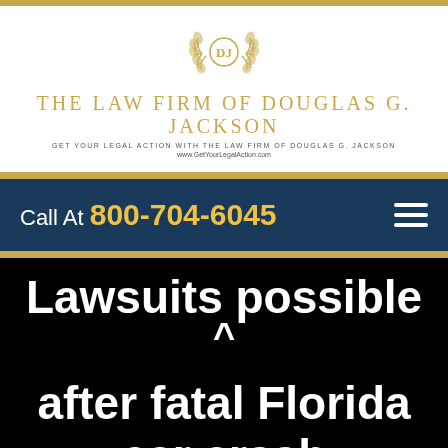[Figure (logo): DJ laurel wreath emblem logo for The Law Firm of Douglas G. Jackson]
The Law Firm of Douglas G. Jackson
GET YOUR LEGAL ACTION WITH THE LAW FIRM OF DOUGLAS G. JACKSON
www.GetYourLegalAction.com
Call At 800-704-6045
Lawsuits possible after fatal Florida car crash